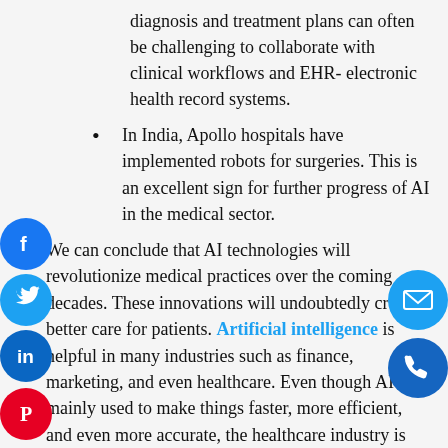diagnosis and treatment plans can often be challenging to collaborate with clinical workflows and EHR- electronic health record systems.
In India, Apollo hospitals have implemented robots for surgeries. This is an excellent sign for further progress of AI in the medical sector.
We can conclude that AI technologies will revolutionize medical practices over the coming decades. These innovations will undoubtedly create better care for patients. Artificial intelligence is helpful in many industries such as finance, marketing, and even healthcare. Even though AI is mainly used to make things faster, more efficient, and even more accurate, the healthcare industry is one